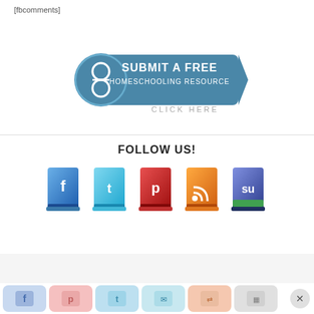[fbcomments]
[Figure (logo): Submit a free homeschooling resource button with circular icon and blue banner reading SUBMIT A FREE HOMESCHOOLING RESOURCE CLICK HERE]
FOLLOW US!
[Figure (illustration): Five social media book icons: Facebook (blue), Twitter (light blue), Pinterest (red), RSS (orange), StumbleUpon (blue/green)]
[Figure (infographic): Social sharing bar with Facebook, Pinterest, Twitter, email, share, and more buttons plus a close X button]